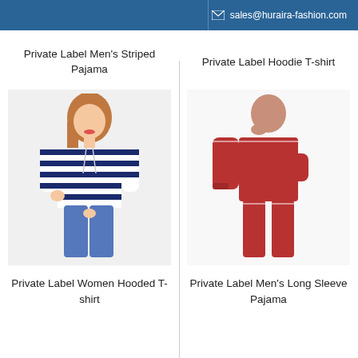sales@huraira-fashion.com
Private Label Men's Striped Pajama
Private Label Hoodie T-shirt
[Figure (photo): Woman wearing a navy and white striped short-sleeve hooded crop top with drawstrings, paired with ripped blue jeans.]
[Figure (photo): Man wearing a red long-sleeve pajama set (top and pants) with white piping details.]
Private Label Women Hooded T-shirt
Private Label Men's Long Sleeve Pajama